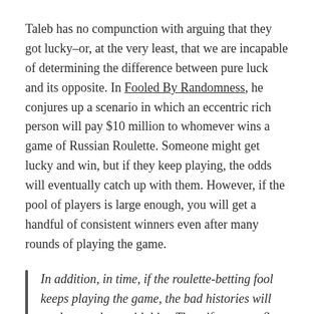Taleb has no compunction with arguing that they got lucky–or, at the very least, that we are incapable of determining the difference between pure luck and its opposite. In Fooled By Randomness, he conjures up a scenario in which an eccentric rich person will pay $10 million to whomever wins a game of Russian Roulette. Someone might get lucky and win, but if they keep playing, the odds will eventually catch up with them. However, if the pool of players is large enough, you will get a handful of consistent winners even after many rounds of playing the game.
In addition, in time, if the roulette-betting fool keeps playing the game, the bad histories will tend to catch up with him. Thus, if a twenty-five-year-old played